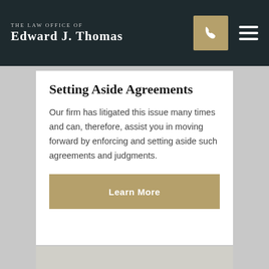The Law Office Of Edward J. Thomas
Setting Aside Agreements
Our firm has litigated this issue many times and can, therefore, assist you in moving forward by enforcing and setting aside such agreements and judgments.
Learn More
[Figure (photo): Partial view of a person in a professional setting, bottom of page]